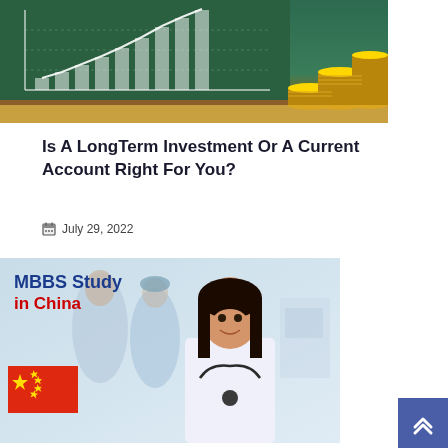[Figure (photo): Photo of stacked gold coins on a table in front of a chalkboard showing a bar chart going upward, representing financial growth and investment]
Is A LongTerm Investment Or A Current Account Right For You?
July 29, 2022
[Figure (photo): Promotional image for MBBS Study in China featuring a smiling female doctor in white coat with stethoscope, Chinese flag, and blurred medical staff in background]